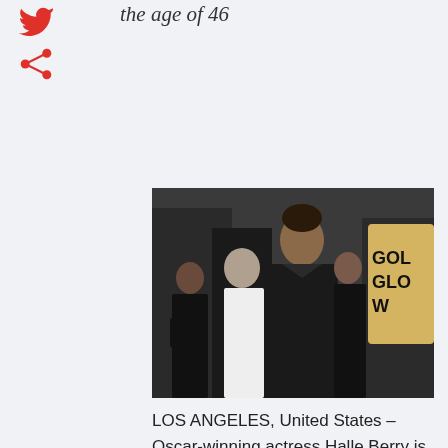the age of 46
[Figure (photo): Halle Berry at the Golden Globes red carpet event, wearing a black leather corset dress, with crowd and Golden Globe award sign in background]
LOS ANGELES, United States – Oscar-winning actress Halle Berry is expecting her second